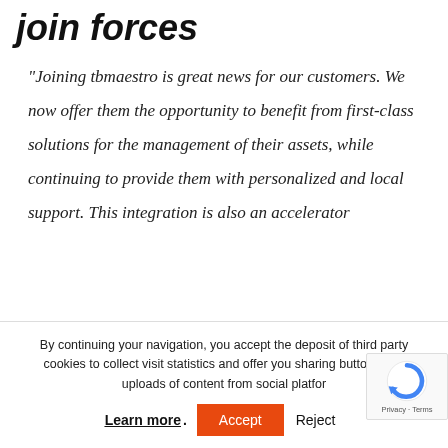join forces
“Joining tbmaestro is great news for our customers. We now offer them the opportunity to benefit from first-class solutions for the management of their assets, while continuing to provide them with personalized and local support. This integration is also an accelerator
By continuing your navigation, you accept the deposit of third party cookies to collect visit statistics and offer you sharing buttons and uploads of content from social platfor…
Learn more . Accept Reject